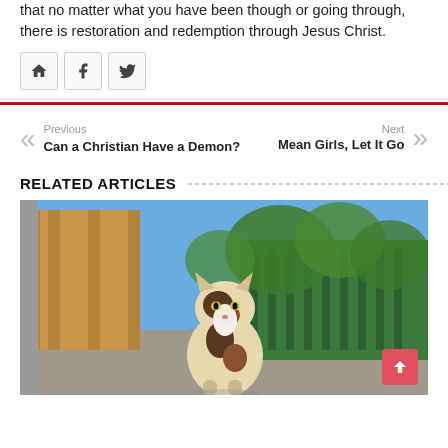that no matter what you have been though or going through, there is restoration and redemption through Jesus Christ.
[Figure (illustration): Social sharing icons: home, Facebook, Twitter]
Previous
Can a Christian Have a Demon?
Next
Mean Girls, Let It Go
RELATED ARTICLES
[Figure (photo): A calico cat walking toward the camera outdoors, with a wooden fence and green foliage in the background.]